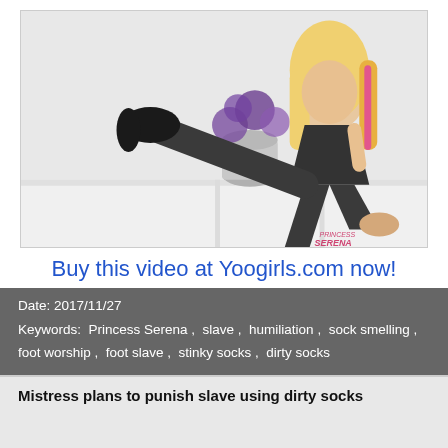[Figure (photo): Blonde woman in dark athletic wear with one leg raised wearing a black sock, seated on a white shelf unit with purple flowers in background. Watermark: PRINCESS SERENA]
Buy this video at Yoogirls.com now!
Date: 2017/11/27
Keywords:  Princess Serena ,  slave ,  humiliation ,  sock smelling ,  foot worship ,  foot slave ,  stinky socks ,  dirty socks
Mistress plans to punish slave using dirty socks